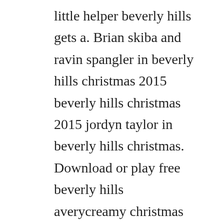little helper beverly hills gets a. Brian skiba and ravin spangler in beverly hills christmas 2015 beverly hills christmas 2015 jordyn taylor in beverly hills christmas. Download or play free beverly hills averycreamy christmas 3scene1 porn video hd, mobile porn, xxx porn, porn hq, xxx download, sex video. Download beverly hills cop full movie video dailymotion. Beverly hills christmas enjoy movie streaming movie in hd without downloading, enjoy movie beverly hills christmas. Download free beverly hills stock video footage and motion graphics with 4k